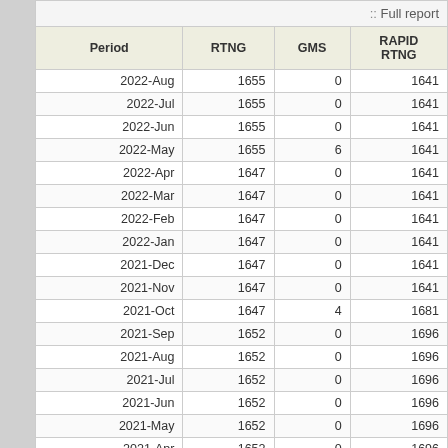| Period | RTNG | GMS | RAPID RTNG |
| --- | --- | --- | --- |
| 2022-Aug | 1655 | 0 | 1641 |
| 2022-Jul | 1655 | 0 | 1641 |
| 2022-Jun | 1655 | 0 | 1641 |
| 2022-May | 1655 | 6 | 1641 |
| 2022-Apr | 1647 | 0 | 1641 |
| 2022-Mar | 1647 | 0 | 1641 |
| 2022-Feb | 1647 | 0 | 1641 |
| 2022-Jan | 1647 | 0 | 1641 |
| 2021-Dec | 1647 | 0 | 1641 |
| 2021-Nov | 1647 | 0 | 1641 |
| 2021-Oct | 1647 | 4 | 1681 |
| 2021-Sep | 1652 | 0 | 1696 |
| 2021-Aug | 1652 | 0 | 1696 |
| 2021-Jul | 1652 | 0 | 1696 |
| 2021-Jun | 1652 | 0 | 1696 |
| 2021-May | 1652 | 0 | 1696 |
| 2021-Apr | 1652 | 0 | 1696 |
| 2021-Mar | 1652 | 0 | 1696 |
| 2021-Feb | 1652 | 0 | 1696 |
| 2021-Jan | 1652 | 0 | 1696 |